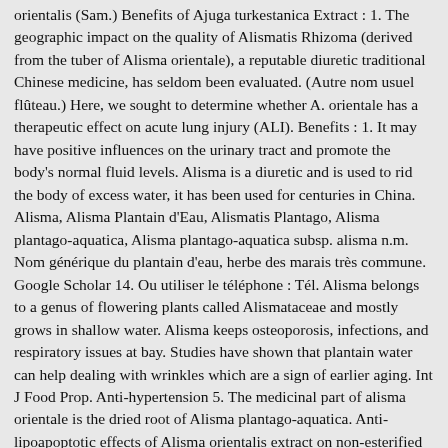orientalis (Sam.) Benefits of Ajuga turkestanica Extract : 1. The geographic impact on the quality of Alismatis Rhizoma (derived from the tuber of Alisma orientale), a reputable diuretic traditional Chinese medicine, has seldom been evaluated. (Autre nom usuel flûteau.) Here, we sought to determine whether A. orientale has a therapeutic effect on acute lung injury (ALI). Benefits : 1. It may have positive influences on the urinary tract and promote the body's normal fluid levels. Alisma is a diuretic and is used to rid the body of excess water, it has been used for centuries in China. Alisma, Alisma Plantain d'Eau, Alismatis Plantago, Alisma plantago-aquatica, Alisma plantago-aquatica subsp. alisma n.m. Nom générique du plantain d'eau, herbe des marais très commune. Google Scholar 14. Ou utiliser le téléphone : Tél. Alisma belongs to a genus of flowering plants called Alismataceae and mostly grows in shallow water. Alisma keeps osteoporosis, infections, and respiratory issues at bay. Studies have shown that plantain water can help dealing with wrinkles which are a sign of earlier aging. Int J Food Prop. Anti-hypertension 5. The medicinal part of alisma orientale is the dried root of Alisma plantago-aquatica. Anti-lipoapoptotic effects of Alisma orientalis extract on non-esterified fatty acid-induced HepG2 cells. Twenty-eight protostane triterpenoids, including a new degraded one (1), nine new ones (2-10) and two new natural ones (11